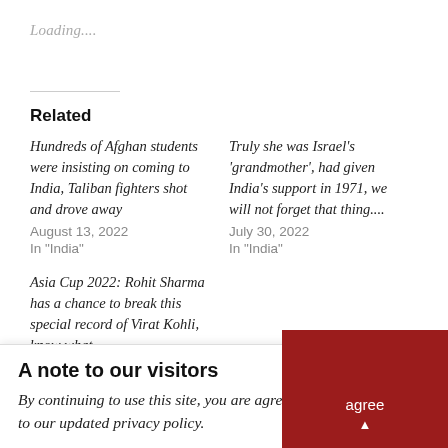Loading....
Related
Hundreds of Afghan students were insisting on coming to India, Taliban fighters shot and drove away
August 13, 2022
In "India"
Truly she was Israel's 'grandmother', had given India's support in 1971, we will not forget that thing....
July 30, 2022
In "India"
Asia Cup 2022: Rohit Sharma has a chance to break this special record of Virat Kohli, know what
August 10, 2022
In "India"
A note to our visitors
By continuing to use this site, you are agreeing to our updated privacy policy.